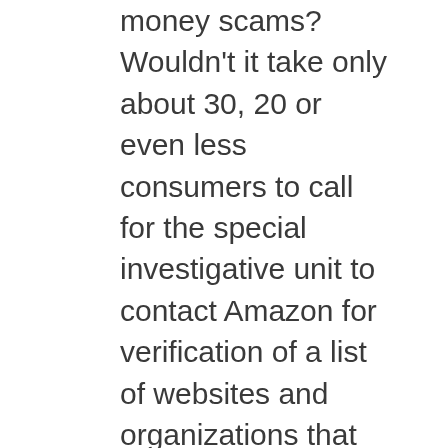money scams? Wouldn't it take only about 30, 20 or even less consumers to call for the special investigative unit to contact Amazon for verification of a list of websites and organizations that dish out this hooey? ...thereby now having the ammunition to demand that they cease business operation the name of major companies that no knowledge or affiliation of there band of exploitation? Hmmm? Well wouldn't it be that easy to get the ball rolling on bringing this type of corruption to an glorious end? ... starting with this website making